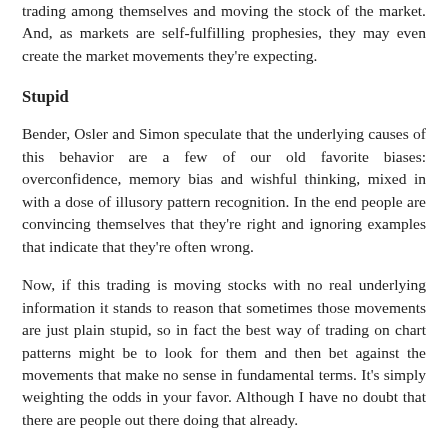trading among themselves and moving the stock of the market. And, as markets are self-fulfilling prophesies, they may even create the market movements they're expecting.
Stupid
Bender, Osler and Simon speculate that the underlying causes of this behavior are a few of our old favorite biases: overconfidence, memory bias and wishful thinking, mixed in with a dose of illusory pattern recognition. In the end people are convincing themselves that they're right and ignoring examples that indicate that they're often wrong.
Now, if this trading is moving stocks with no real underlying information it stands to reason that sometimes those movements are just plain stupid, so in fact the best way of trading on chart patterns might be to look for them and then bet against the movements that make no sense in fundamental terms. It's simply weighting the odds in your favor. Although I have no doubt that there are people out there doing that already.